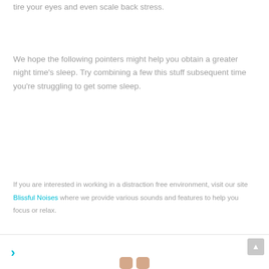tire your eyes and even scale back stress.
We hope the following pointers might help you obtain a greater night time's sleep. Try combining a few this stuff subsequent time you're struggling to get some sleep.
If you are interested in working in a distraction free environment, visit our site Blissful Noises where we provide various sounds and features to help you focus or relax.
[Figure (photo): Partial view of a person's legs at the bottom of the page]
>